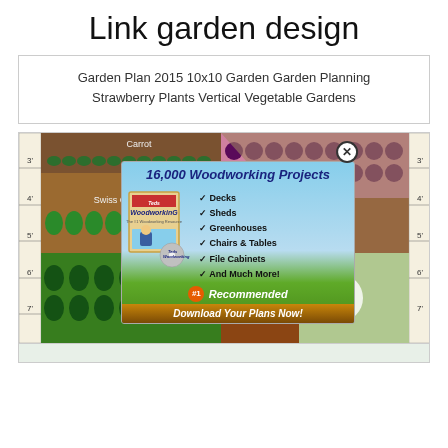Link garden design
Garden Plan 2015 10x10 Garden Garden Planning Strawberry Plants Vertical Vegetable Gardens
[Figure (screenshot): A garden planning tool screenshot showing a colorful vegetable garden layout with rows of plants labeled Carrot, Beet, Swiss Chard and others, with a ruler on the side showing measurements. An advertisement overlay appears on top promoting '16,000 Woodworking Projects' with checkmark list of Decks, Sheds, Greenhouses, Chairs & Tables, File Cabinets, And Much More! with a product box image and '#1 Recommended / Download Your Plans Now!' button. A close (X) button appears at the top of the ad.]